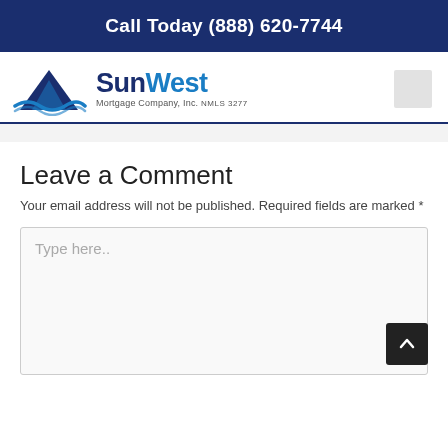Call Today (888) 620-7744
[Figure (logo): SunWest Mortgage Company, Inc. NMLS 3277 logo with rooftop/mountain icon]
Leave a Comment
Your email address will not be published. Required fields are marked *
Type here..